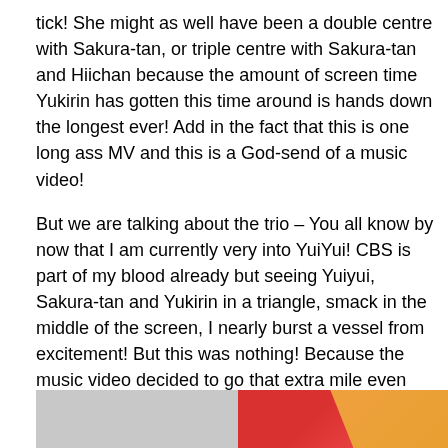tick! She might as well have been a double centre with Sakura-tan, or triple centre with Sakura-tan and Hiichan because the amount of screen time Yukirin has gotten this time around is hands down the longest ever! Add in the fact that this is one long ass MV and this is a God-send of a music video!
But we are talking about the trio – You all know by now that I am currently very into YuiYui! CBS is part of my blood already but seeing Yuiyui, Sakura-tan and Yukirin in a triangle, smack in the middle of the screen, I nearly burst a vessel from excitement! But this was nothing! Because the music video decided to go that extra mile even when it did not have to with some shipping and…
[Figure (photo): Partial view of an image showing a grey/silver section on the left and a red and orange section on the right, likely a still from a music video.]